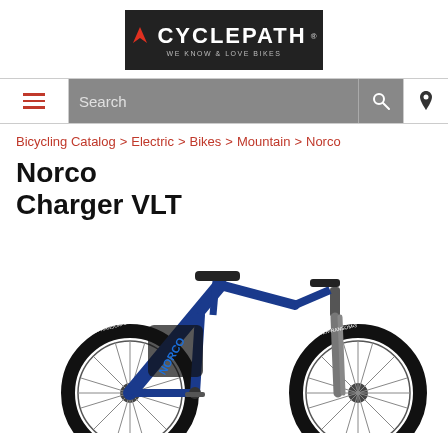[Figure (logo): Cyclepath logo — black rectangle with red runner icon and white text CYCLEPATH, tagline WE KNOW & LOVE BIKES]
Navigation bar with hamburger menu, Search field, search icon, and location pin icon
Bicycling Catalog > Electric > Bikes > Mountain > Norco
Norco Charger VLT
[Figure (photo): Blue Norco Charger VLT electric mountain bike shown in profile view on white background, featuring fat knobby tires, integrated battery in downtube, and front suspension fork]